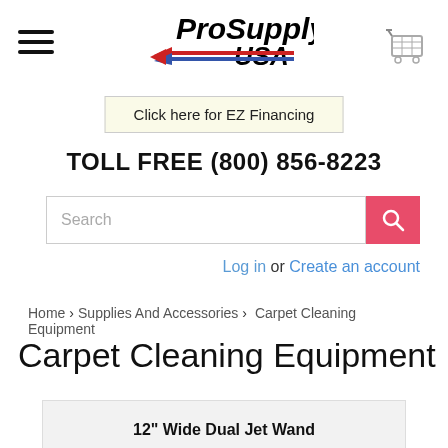[Figure (logo): ProSupply USA logo with italic bold text and red/blue flag stripe]
[Figure (illustration): Shopping cart icon in gray]
Click here for EZ Financing
TOLL FREE (800) 856-8223
Log in or Create an account
Home › Supplies And Accessories › Carpet Cleaning Equipment
Carpet Cleaning Equipment
12" Wide Dual Jet Wand